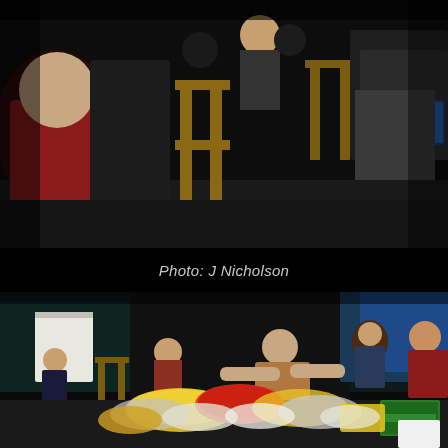[Figure (photo): Dark indoor scene showing people seated in chairs arranged in a circle or audience formation. A person in a red shirt is visible on the left, others are seated with a laptop visible in the upper right area. Dark background.]
Photo: J Nicholson
[Figure (photo): Indoor stage or dark room scene with a group of people seated in chairs against dark curtains. A person in the center foreground has arms outstretched. In the foreground are piles of snack bags and packaged goods on the floor. A small white square is visible in the bottom right corner.]